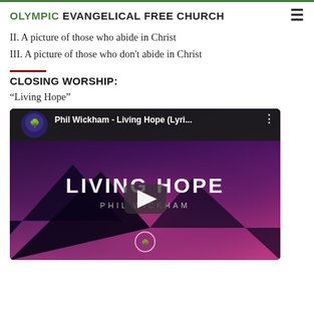OLYMPIC EVANGELICAL FREE CHURCH
II. A picture of those who abide in Christ
III. A picture of those who don't abide in Christ
CLOSING WORSHIP:
“Living Hope”
[Figure (screenshot): YouTube video thumbnail for Phil Wickham - Living Hope (Lyrics...) showing the text LIVING HOPE and PHIL WICKHAM over a purple/dark mountain background with a play button in the center and the YouTube channel icon in the top left.]